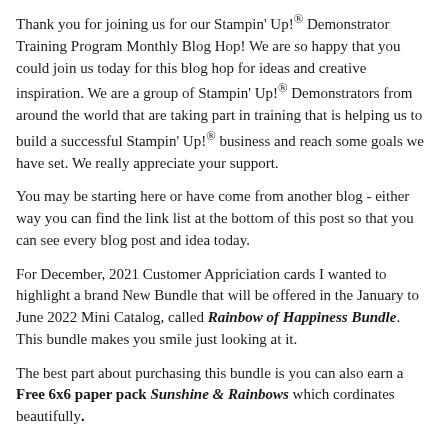Thank you for joining us for our Stampin' Up!® Demonstrator Training Program Monthly Blog Hop! We are so happy that you could join us today for this blog hop for ideas and creative inspiration. We are a group of Stampin' Up!® Demonstrators from around the world that are taking part in training that is helping us to build a successful Stampin' Up!® business and reach some goals we have set. We really appreciate your support.
You may be starting here or have come from another blog - either way you can find the link list at the bottom of this post so that you can see every blog post and idea today.
For December, 2021 Customer Appriciation cards I wanted to highlight a brand New Bundle that will be offered in the January to June 2022 Mini Catalog, called Rainbow of Happiness Bundle. This bundle makes you smile just looking at it.
The best part about purchasing this bundle is you can also earn a Free 6x6 paper pack Sunshine & Rainbows which cordinates beautifully.